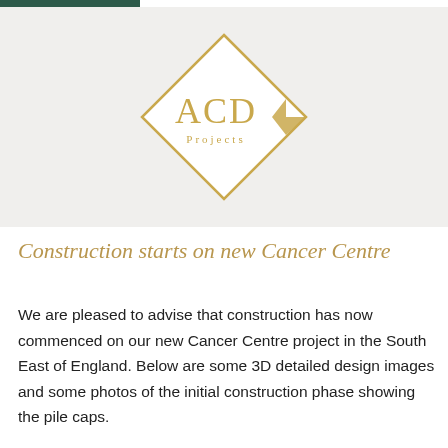[Figure (logo): ACD Projects logo — a diamond/rhombus shape in gold outline with the text 'ACD' in large serif letters and 'Projects' below in smaller letters, set on a light grey background]
Construction starts on new Cancer Centre
We are pleased to advise that construction has now commenced on our new Cancer Centre project in the South East of England. Below are some 3D detailed design images and some photos of the initial construction phase showing the pile caps.